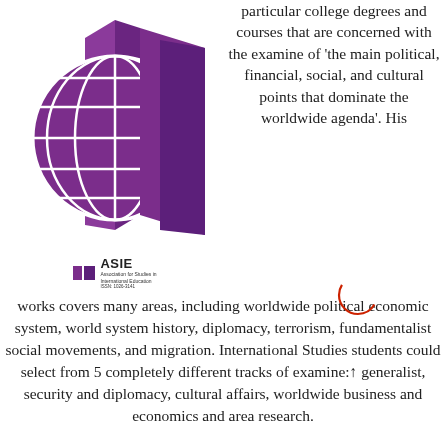[Figure (logo): ASIE (Association for Studies in International Education) logo featuring a purple globe with grid lines overlaid with an open purple book/page design]
particular college degrees and courses that are concerned with the examine of 'the main political, financial, social, and cultural points that dominate the worldwide agenda'. His works covers many areas, including worldwide political economic system, world system history, diplomacy, terrorism, fundamentalist social movements, and migration. International Studies students could select from 5 completely different tracks of examine: generalist, security and diplomacy, cultural affairs, worldwide business and economics and area research.